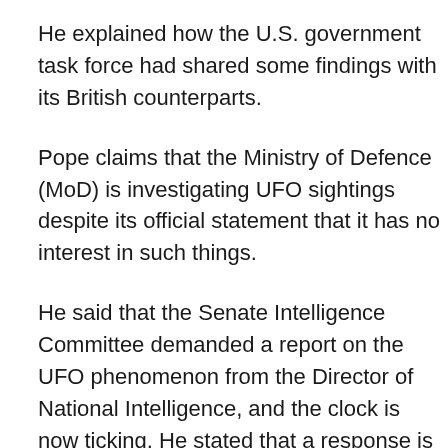He explained how the U.S. government task force had shared some findings with its British counterparts.
Pope claims that the Ministry of Defence (MoD) is investigating UFO sightings despite its official statement that it has no interest in such things.
He said that the Senate Intelligence Committee demanded a report on the UFO phenomenon from the Director of National Intelligence, and the clock is now ticking. He stated that a response is due within 180 days of the Covid-19 relief bill's enactment. Pope explained that this bill contained the Intelligence Authorization Act, where the UFO requirement was articulated.
Pope, a former MoD official, believes British officials have already looked at the U.S. research. He said that he's aware that the UAP Task Force has shared some initial findings with